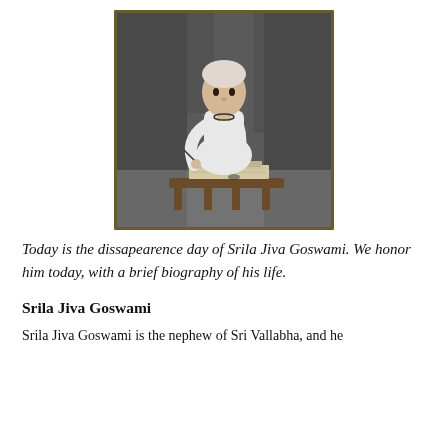[Figure (illustration): Black and white illustration of Srila Jiva Goswami seated cross-legged on a low wooden stool or table, writing in a book, wearing white robes, with trees in the background. The image has a dark olive/gold border.]
Today is the dissapearence day of Srila Jiva Goswami. We honor him today, with a brief biography of his life.
Srila Jiva Goswami
Srila Jiva Goswami is the nephew of Sri Vallabha, and he